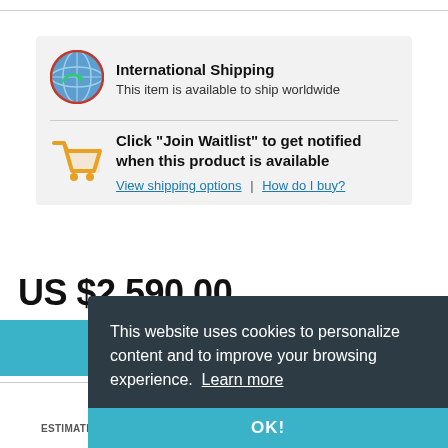[Figure (infographic): International Shipping section with globe icon, title 'International Shipping', subtitle 'This item is available to ship worldwide', separator line, shopping cart icon, bold text 'Click "Join Waitlist" to get notified when this product is available', links 'View shipping options' and 'How do I buy?']
US $2,590.00
[Figure (infographic): Cookie consent overlay with dark background. Text: 'This website uses cookies to personalize content and to improve your browsing experience. Learn more'. OK! button at the bottom in teal/blue bar.]
ESTIMATE DUTIES & TAXES
HOW IT WORKS